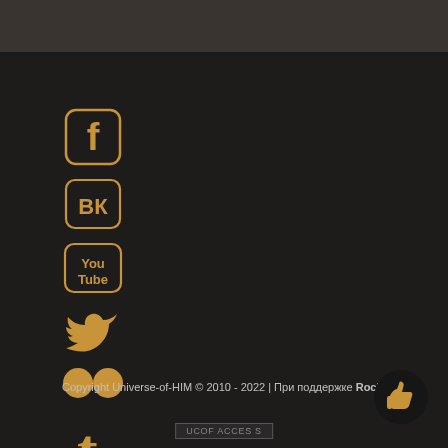[Figure (illustration): Vertical column of golden social media icons: Facebook (rounded square with f), VKontakte (rounded square with VK), YouTube (rounded square with You/Tube text), Twitter bird, Flickr (two dots), Tumblr (t letter), Camera/Instagram icon]
Copyright Universe-of-HIM © 2010 - 2022 | При поддержке RockCrySoul
[Figure (illustration): Dark circular thumbs-up like button icon in bottom right corner]
[Figure (illustration): Page number navigation bar at bottom center]